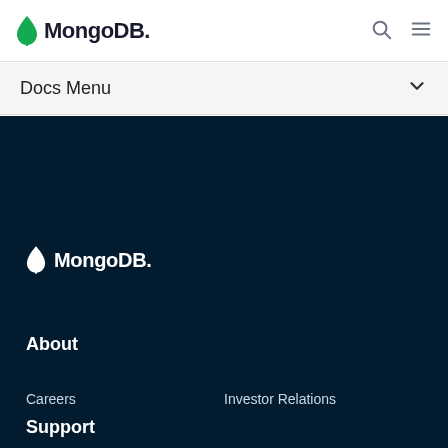MongoDB. (logo with search and menu icons)
Docs Menu
[Figure (logo): MongoDB white logo with leaf icon on dark background]
About
Careers
Investor Relations
Legal Notices
Privacy Notices
Security Information
Trust Center
Support